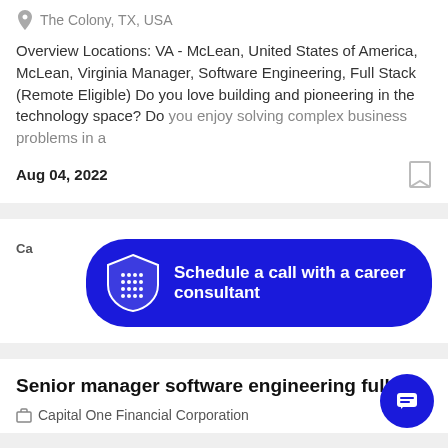The Colony, TX, USA
Overview Locations: VA - McLean, United States of America, McLean, Virginia Manager, Software Engineering, Full Stack (Remote Eligible) Do you love building and pioneering in the technology space? Do you enjoy solving complex business problems in a
Aug 04, 2022
[Figure (infographic): Blue rounded button with shield logo: Schedule a call with a career consultant]
Senior manager software engineering full s
Capital One Financial Corporation